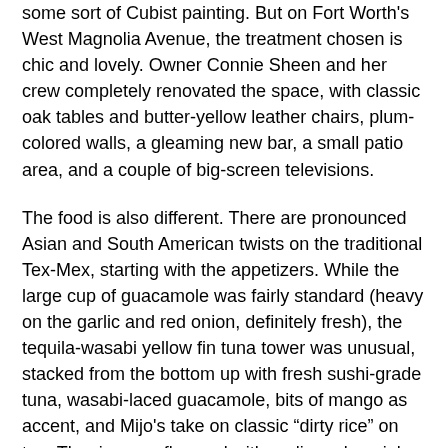some sort of Cubist painting. But on Fort Worth's West Magnolia Avenue, the treatment chosen is chic and lovely. Owner Connie Sheen and her crew completely renovated the space, with classic oak tables and butter-yellow leather chairs, plum-colored walls, a gleaming new bar, a small patio area, and a couple of big-screen televisions.
The food is also different. There are pronounced Asian and South American twists on the traditional Tex-Mex, starting with the appetizers. While the large cup of guacamole was fairly standard (heavy on the garlic and red onion, definitely fresh), the tequila-wasabi yellow fin tuna tower was unusual, stacked from the bottom up with fresh sushi-grade tuna, wasabi-laced guacamole, bits of mango as accent, and Mijo's take on classic “dirty rice” on top. The rice was flavored with garlic and, mainly for color, just a hint of cilantro, and the tuna wasn’t minced but served in awkward chunks. Inexplicably, the rice was warm, which created a weird sensory combination: cold fish, lukewarm guacamole, and warm rice. The concept was good, but the execution lacked.